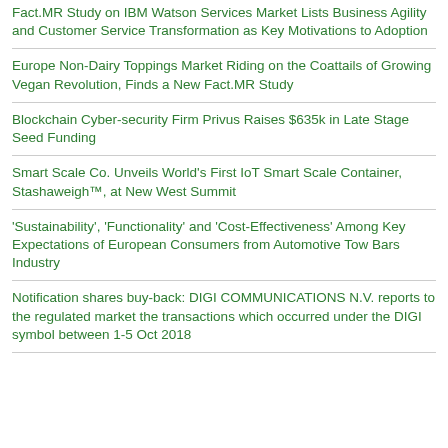Fact.MR Study on IBM Watson Services Market Lists Business Agility and Customer Service Transformation as Key Motivations to Adoption
Europe Non-Dairy Toppings Market Riding on the Coattails of Growing Vegan Revolution, Finds a New Fact.MR Study
Blockchain Cyber-security Firm Privus Raises $635k in Late Stage Seed Funding
Smart Scale Co. Unveils World's First IoT Smart Scale Container, Stashaweigh™, at New West Summit
'Sustainability', 'Functionality' and 'Cost-Effectiveness' Among Key Expectations of European Consumers from Automotive Tow Bars Industry
Notification shares buy-back: DIGI COMMUNICATIONS N.V. reports to the regulated market the transactions which occurred under the DIGI symbol between 1-5 Oct 2018